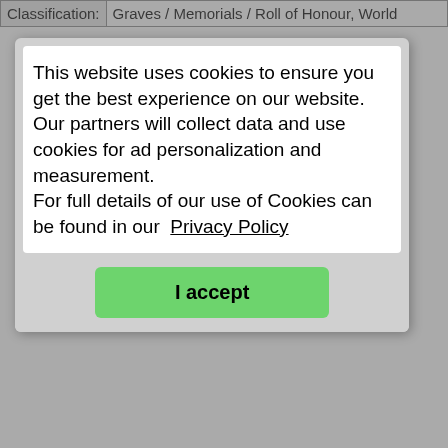| Classification: |  |
| --- | --- |
| Classification: | Graves / Memorials / Roll of Honour, World |
[Figure (screenshot): Cookie consent popup overlay with text: 'This website uses cookies to ensure you get the best experience on our website. Our partners will collect data and use cookies for ad personalization and measurement. For full details of our use of Cookies can be found in our Privacy Policy' and a green 'I accept' button.]
| Link: | Description: | Extra Info: |
| --- | --- | --- |
| Link: | http://www.tkqlhce.com/click-1363683-10934994?url=... |
| Description: | Fold3's UK World War 1 Records main page. |
| Extra Info: | Ancestry's military history companion website with over 31 Million records. |
| Classification: |
| --- |
| Classification: | Graves / Memorials / Roll of Honour, World War II, Prisoners of War, Discharge / Pension Records, Officers' Records, Service Records, Muster / Militia Rolls, |